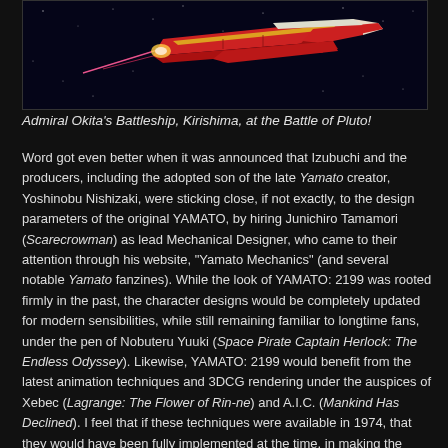[Figure (illustration): Illustration of Admiral Okita's Battleship Kirishima, a red and white spacecraft, firing a beam weapon, set against a dark starfield background.]
Admiral Okita's Battleship, Kirishima, at the Battle of Pluto!
Word got even better when it was announced that Izubuchi and the producers, including the adopted son of the late Yamato creator, Yoshinobu Nishizaki, were sticking close, if not exactly, to the design parameters of the original YAMATO, by hiring Junichiro Tamamori (Scarecrowman) as lead Mechanical Designer, who came to their attention through his website, "Yamato Mechanics" (and several notable Yamato fanzines). While the look of YAMATO: 2199 was rooted firmly in the past, the character designs would be completely updated for modern sensibilities, while still remaining familiar to longtime fans, under the pen of Nobuteru Yuuki (Space Pirate Captain Herlock: The Endless Odyssey). Likewise, YAMATO: 2199 would benefit from the latest animation techniques and 3DCG rendering under the auspices of Xebec (Lagrange: The Flower of Rin-ne) and A.I.C. (Mankind Has Declined). I feel that if these techniques were available in 1974, that they would have been fully implemented at the time, in making the original series.